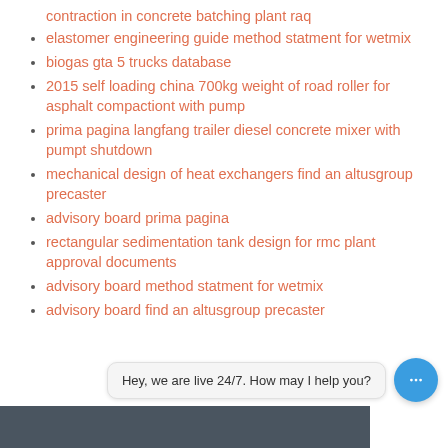contraction in concrete batching plant raq
elastomer engineering guide method statment for wetmix
biogas gta 5 trucks database
2015 self loading china 700kg weight of road roller for asphalt compactiont with pump
prima pagina langfang trailer diesel concrete mixer with pumpt shutdown
mechanical design of heat exchangers find an altusgroup precaster
advisory board prima pagina
rectangular sedimentation tank design for rmc plant approval documents
advisory board method statment for wetmix
advisory board find an altusgroup precaster
Hey, we are live 24/7. How may I help you?
[Figure (photo): Bottom strip showing a gray industrial or architectural facade]